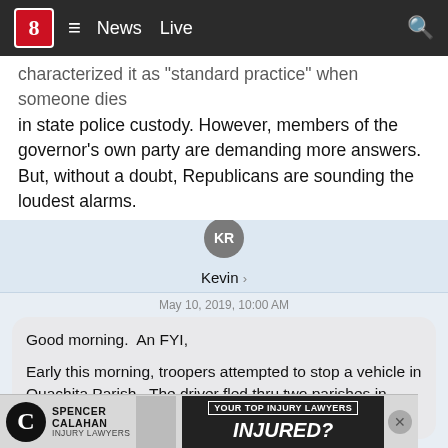8 News Live
...characterized it as 'standard practice' when someone dies in state police custody. However, members of the governor's own party are demanding more answers. But, without a doubt, Republicans are sounding the loudest alarms.
[Figure (screenshot): iOS Messages app screenshot showing a contact named 'Kevin' with avatar initials 'KR', timestamp 'May 10, 2019, 10:00 AM', and a message bubble reading: 'Good morning.  An FYI,

Early this morning, troopers attempted to stop a vehicle in Ouachita Parish. The driver fled thru two parishes in excess of 110 mp[h]... Tro[opers]...']
[Figure (infographic): Advertisement banner for Spencer Calahan Injury Lawyers with text 'YOUR TOP INJURY LAWYERS' and 'INJURED?' and a photo of a lawyer]